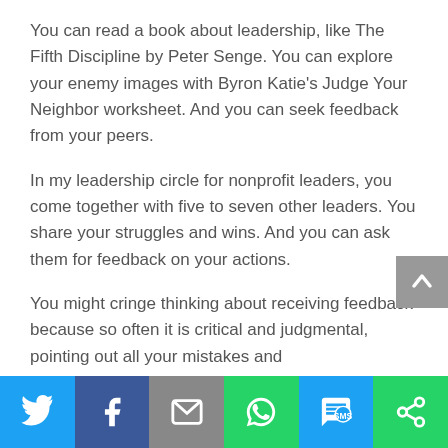You can read a book about leadership, like The Fifth Discipline by Peter Senge. You can explore your enemy images with Byron Katie's Judge Your Neighbor worksheet. And you can seek feedback from your peers.
In my leadership circle for nonprofit leaders, you come together with five to seven other leaders. You share your struggles and wins. And you can ask them for feedback on your actions.
You might cringe thinking about receiving feedback because so often it is critical and judgmental, pointing out all your mistakes and